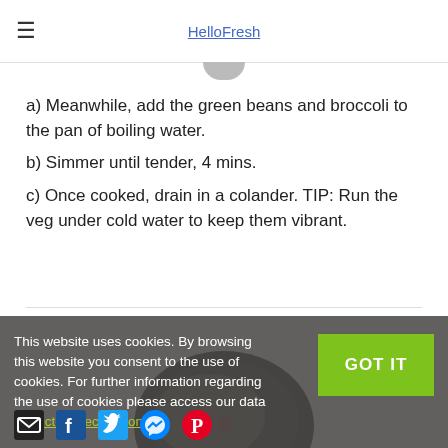HelloFresh
a) Meanwhile, add the green beans and broccoli to the pan of boiling water.
b) Simmer until tender, 4 mins.
c) Once cooked, drain in a colander. TIP: Run the veg under cold water to keep them vibrant.
[Figure (photo): Photo of a bowl of cooked grains/food on a marble surface, partially visible]
This website uses cookies. By browsing this website you consent to the use of cookies. For further information regarding the use of cookies please access our data protection declaration.